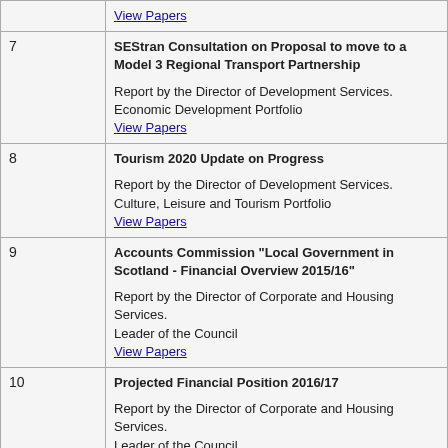| Item | Description |
| --- | --- |
|  | View Papers |
| 7 | SEStran Consultation on Proposal to move to a Model 3 Regional Transport Partnership

Report by the Director of Development Services.
Economic Development Portfolio
View Papers |
| 8 | Tourism 2020 Update on Progress

Report by the Director of Development Services.
Culture, Leisure and Tourism Portfolio
View Papers |
| 9 | Accounts Commission "Local Government in Scotland - Financial Overview 2015/16"

Report by the Director of Corporate and Housing Services.
Leader of the Council
View Papers |
| 10 | Projected Financial Position 2016/17

Report by the Director of Corporate and Housing Services.
Leader of the Council
View Papers |
| 11 | Exclusion of Public

If so resolved in terms of Section 50A(4) of the Local Government (Scotland) Act 1973, exclude from the meeting the press and public from the following item of business on the grounds that it involves... |